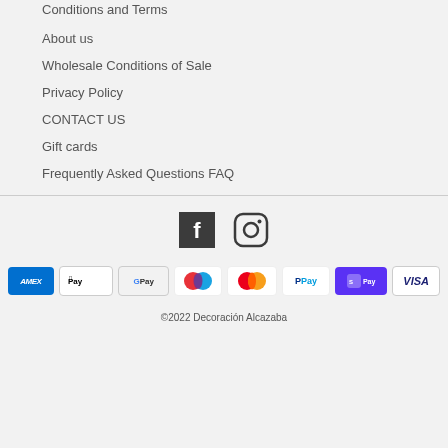Conditions and Terms
About us
Wholesale Conditions of Sale
Privacy Policy
CONTACT US
Gift cards
Frequently Asked Questions FAQ
[Figure (logo): Facebook and Instagram social icons]
[Figure (infographic): Payment method badges: American Express, Apple Pay, Google Pay, Maestro, Mastercard, PayPal, Shop Pay, Visa]
©2022 Decoración Alcazaba